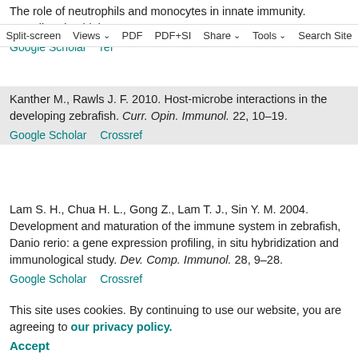The role of neutrophils and monocytes in innate immunity. Contrib. Microbiol. 15, 118–146.
Google Scholar   ref
Split-screen  Views  PDF  PDF+SI  Share  Tools  Search Site
Kanther M., Rawls J. F. 2010. Host-microbe interactions in the developing zebrafish. Curr. Opin. Immunol. 22, 10–19.
Google Scholar   Crossref
Lam S. H., Chua H. L., Gong Z., Lam T. J., Sin Y. M. 2004. Development and maturation of the immune system in zebrafish, Danio rerio: a gene expression profiling, in situ hybridization and immunological study. Dev. Comp. Immunol. 28, 9–28.
Google Scholar   Crossref
This site uses cookies. By continuing to use our website, you are agreeing to our privacy policy. Accept